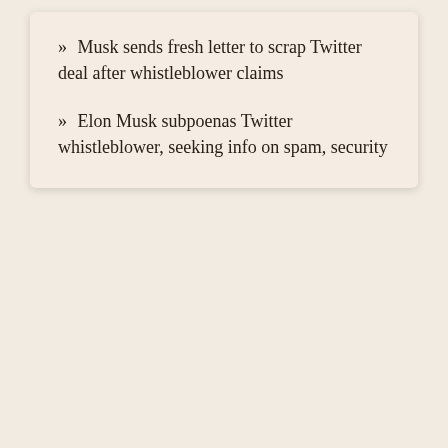» Musk sends fresh letter to scrap Twitter deal after whistleblower claims
» Elon Musk subpoenas Twitter whistleblower, seeking info on spam, security